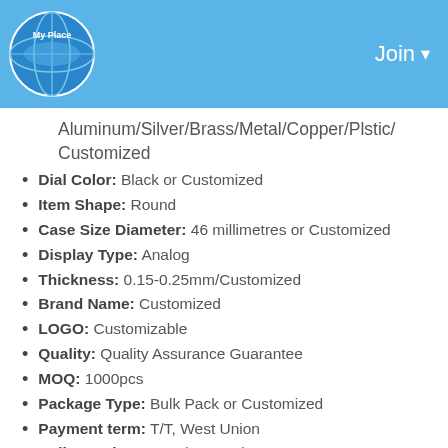Join
Aluminum/Silver/Brass/Metal/Copper/Plstic/Customized
Dial Color: Black or Customized
Item Shape: Round
Case Size Diameter: 46 millimetres or Customized
Display Type: Analog
Thickness: 0.15-0.25mm/Customized
Brand Name: Customized
LOGO: Customizable
Quality: Quality Assurance Guarantee
MOQ: 1000pcs
Package Type: Bulk Pack or Customized
Payment term: T/T, West Union
Delivery Time: 1week-2months
OC: 100% Test Past